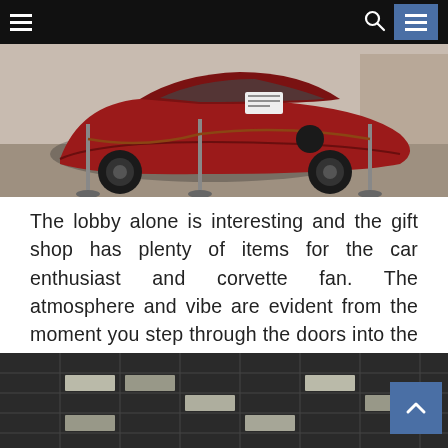Navigation bar with hamburger menu, search icon, and menu button
[Figure (photo): Red Corvette sports car on display in a showroom/museum lobby, behind stanchion ropes, viewed from the side/front quarter angle]
The lobby alone is interesting and the gift shop has plenty of items for the car enthusiast and corvette fan. The atmosphere and vibe are evident from the moment you step through the doors into the expansive entry and see all of the new cars waiting to be delivered.
[Figure (photo): Interior ceiling of a large building with fluorescent lighting panels and a grid ceiling, shown in black and white/dark tones]